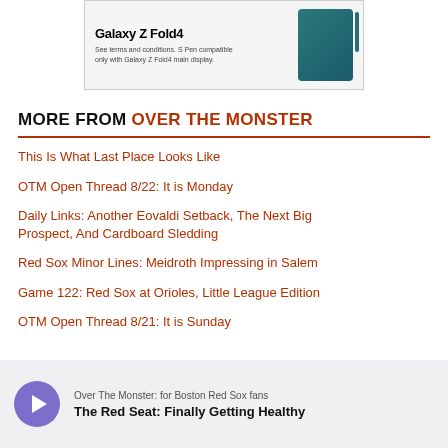[Figure (photo): Advertisement for Samsung Galaxy Z Fold4 showing product image of the phone with S Pen, with fine print text about S Pen compatibility]
MORE FROM OVER THE MONSTER
This Is What Last Place Looks Like
OTM Open Thread 8/22: It is Monday
Daily Links: Another Eovaldi Setback, The Next Big Prospect, And Cardboard Sledding
Red Sox Minor Lines: Meidroth Impressing in Salem
Game 122: Red Sox at Orioles, Little League Edition
OTM Open Thread 8/21: It is Sunday
[Figure (other): Podcast card for 'Over The Monster: for Boston Red Sox fans' with purple play button and episode title 'The Red Seat: Finally Getting Healthy']